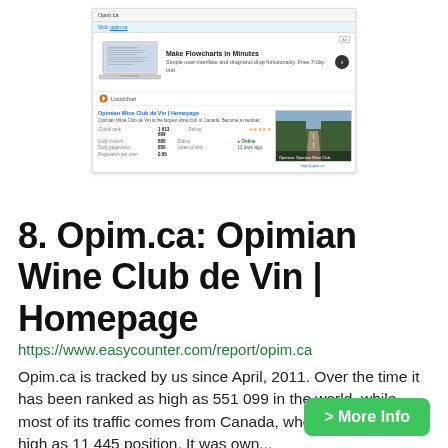[Figure (screenshot): Screenshot of Opim.ca website analytics from easycounter.com, showing site stats including global rank 1,613,699, daily visitors 880, daily pageviews 850, pageviews per user 0.95, status Online, latest check 12 days ago, and a thumbnail image of a road in a forest.]
8. Opim.ca: Opimian Wine Club de Vin | Homepage
https://www.easycounter.com/report/opim.ca
Opim.ca is tracked by us since April, 2011. Over the time it has been ranked as high as 551 099 in the world, while most of its traffic comes from Canada, where it reached as high as 11 445 position. It was own...
> More Info